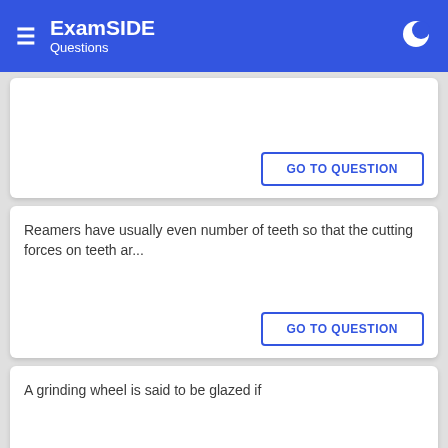ExamSIDE Questions
GO TO QUESTION
Reamers have usually even number of teeth so that the cutting forces on teeth ar...
GO TO QUESTION
A grinding wheel is said to be glazed if
GO TO QUESTION